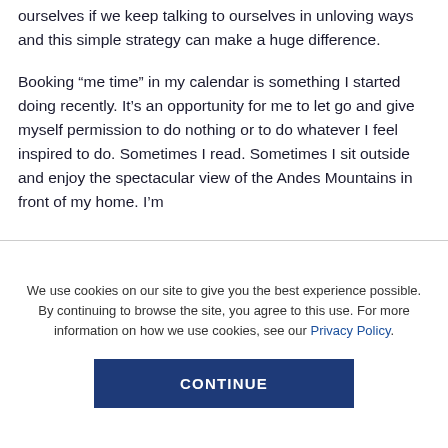ourselves if we keep talking to ourselves in unloving ways and this simple strategy can make a huge difference.
Booking “me time” in my calendar is something I started doing recently. It’s an opportunity for me to let go and give myself permission to do nothing or to do whatever I feel inspired to do. Sometimes I read. Sometimes I sit outside and enjoy the spectacular view of the Andes Mountains in front of my home. I’m
We use cookies on our site to give you the best experience possible. By continuing to browse the site, you agree to this use. For more information on how we use cookies, see our Privacy Policy.
CONTINUE